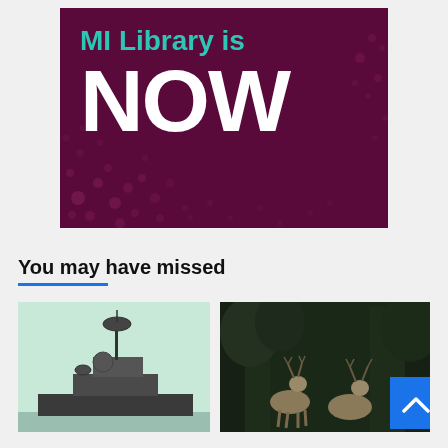[Figure (illustration): Dark maroon/purple banner with polka dot pattern and text 'MI Library is NOW' where 'MI Library is' is in teal and 'NOW' is in large white bold letters]
You may have missed
[Figure (photo): Photo of a naval warship with radar and communications equipment on a light greenish sky background]
[Figure (photo): Photo of deer (stags with antlers) in a dark forested background with a blue scroll-to-top button overlay]